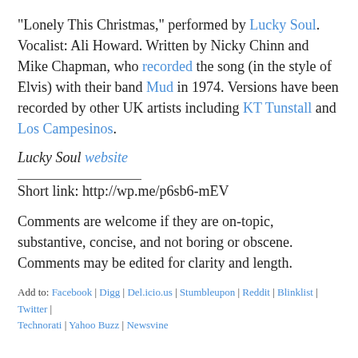“Lonely This Christmas,” performed by Lucky Soul. Vocalist: Ali Howard. Written by Nicky Chinn and Mike Chapman, who recorded the song (in the style of Elvis) with their band Mud in 1974. Versions have been recorded by other UK artists including KT Tunstall and Los Campesinos.
Lucky Soul website
Short link: http://wp.me/p6sb6-mEV
Comments are welcome if they are on-topic, substantive, concise, and not boring or obscene. Comments may be edited for clarity and length.
Add to: Facebook | Digg | Del.icio.us | Stumbleupon | Reddit | Blinklist | Twitter | Technorati | Yahoo Buzz | Newsvine